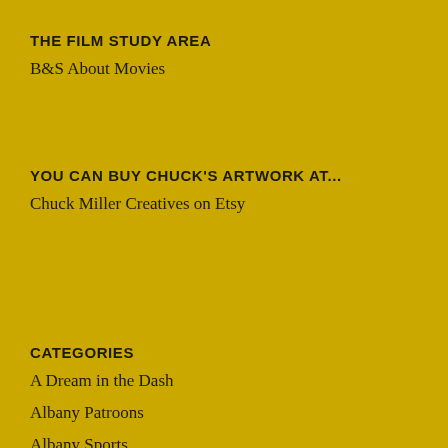THE FILM STUDY AREA
B&S About Movies
YOU CAN BUY CHUCK'S ARTWORK AT...
Chuck Miller Creatives on Etsy
CATEGORIES
A Dream in the Dash
Albany Patroons
Albany Sports